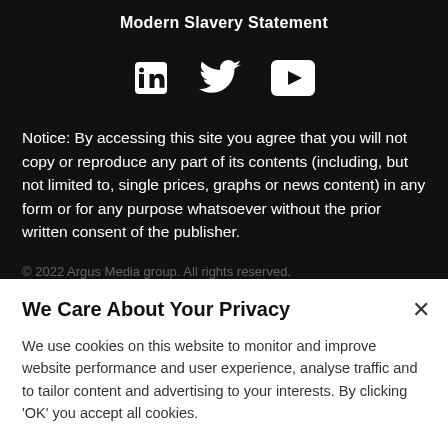Modern Slavery Statement
[Figure (illustration): Social media icons: LinkedIn, Twitter, YouTube]
Notice: By accessing this site you agree that you will not copy or reproduce any part of its contents (including, but not limited to, single prices, graphs or news content) in any form or for any purpose whatsoever without the prior written consent of the publisher.
© 2022 Argus Media group. All rights reserved.
We Care About Your Privacy
We use cookies on this website to monitor and improve website performance and user experience, analyse traffic and to tailor content and advertising to your interests. By clicking 'OK' you accept all cookies.